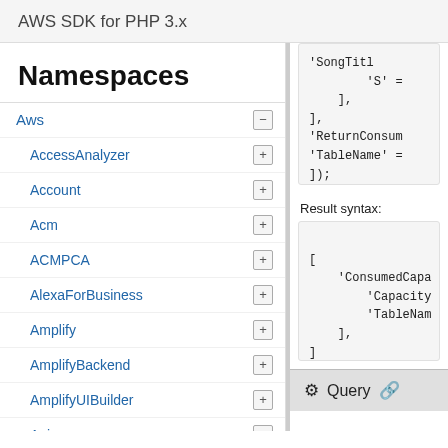AWS SDK for PHP 3.x
Namespaces
Aws
AccessAnalyzer
Account
Acm
ACMPCA
AlexaForBusiness
Amplify
AmplifyBackend
AmplifyUIBuilder
Api
ApiGateway
ApiGatewayManagementApi
'SongTitl
    'S' =
],
],
'ReturnConsum
'TableName' =
]);
Result syntax:
[
    'ConsumedCapa
        'Capacity
        'TableNam
    ],
]
Query